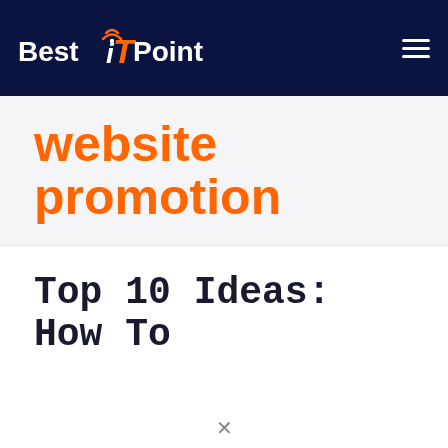Best IT Point
website promotion
Top 10 Ideas: How To